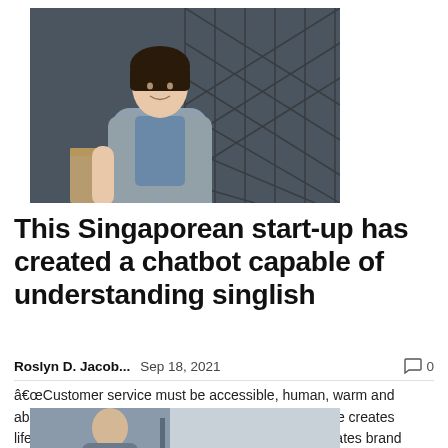[Figure (photo): Young Asian woman in a grey blazer and blue top, standing and leaning against a wooden surface, with a dark lattice background, smiling at the camera.]
This Singaporean start-up has created a chatbot capable of understanding singlish
Roslyn D. Jacob...   Sep 18, 2021   🗨 0
â€œCustomer service must be accessible, human, warm and above all hyper-personalized. Good customer service creates lifelong customers, while great customer service creates brand advocates! She said, adding that "95...
[Figure (photo): Partial photo at the bottom of the page showing a man in profile, cropped.]